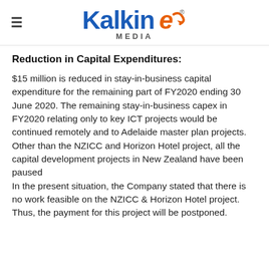Kalkine Media
Reduction in Capital Expenditures:
$15 million is reduced in stay-in-business capital expenditure for the remaining part of FY2020 ending 30 June 2020. The remaining stay-in-business capex in FY2020 relating only to key ICT projects would be continued remotely and to Adelaide master plan projects.
Other than the NZICC and Horizon Hotel project, all the capital development projects in New Zealand have been paused
In the present situation, the Company stated that there is no work feasible on the NZICC & Horizon Hotel project. Thus, the payment for this project will be postponed.